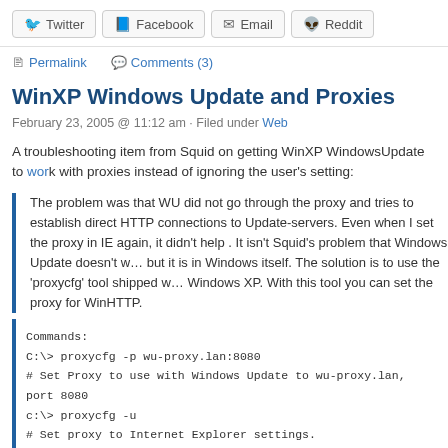Twitter | Facebook | Email | Reddit
Permalink   Comments (3)
WinXP Windows Update and Proxies
February 23, 2005 @ 11:12 am · Filed under Web
A troubleshooting item from Squid on getting WinXP WindowsUpdate to work with proxies instead of ignoring the user's setting:
The problem was that WU did not go through the proxy and tries to establish direct HTTP connections to Update-servers. Even when I set the proxy in IE again, it didn't help . It isn't Squid's problem that Windows Update doesn't work, but it is in Windows itself. The solution is to use the 'proxycfg' tool shipped with Windows XP. With this tool you can set the proxy for WinHTTP.
Commands:
C:\> proxycfg -p wu-proxy.lan:8080
# Set Proxy to use with Windows Update to wu-proxy.lan, port 8080
c:\> proxycfg -u
# Set proxy to Internet Explorer settings.
Share this: